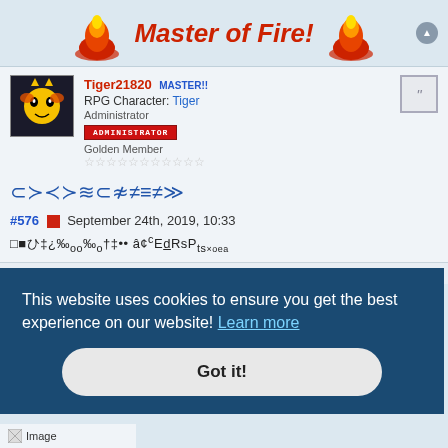[Figure (illustration): Forum banner with 'Master of Fire!' title in red italic text, flanked by two flame/fire emoji icons on a light blue background]
[Figure (photo): User avatar showing a Pikachu-like character on dark background]
Tiger21820 MASTER!! RPG Character: Tiger Administrator ADMINISTRATOR Golden Member ☆☆☆☆☆☆☆☆☆☆☆
[Figure (illustration): Row of special blue symbols/icons used as decorative separator]
#576 September 24th, 2019, 10:33
□■ひ‡¿‰oo‰o†‡•• â¢¢EdRsPts×oea
Last edited by Tiger21820 MASTER!! • September 24th, 2019, 10:33 • edited 1 time in total! word
[Figure (illustration): Fire and ice/snowflake combined icon in top right area]
This website uses cookies to ensure you get the best experience on our website! Learn more
Got it!
[Figure (illustration): Partial image at bottom left labeled 'Image']